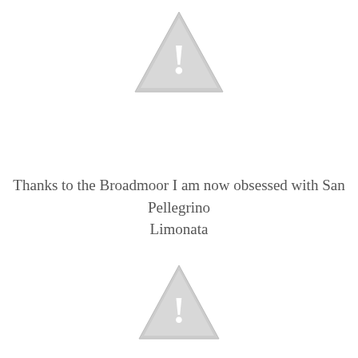[Figure (illustration): Warning triangle icon with exclamation mark, light gray, positioned at top center]
Thanks to the Broadmoor I am now obsessed with San Pellegrino Limonata
[Figure (illustration): Warning triangle icon with exclamation mark, light gray, positioned at bottom center]